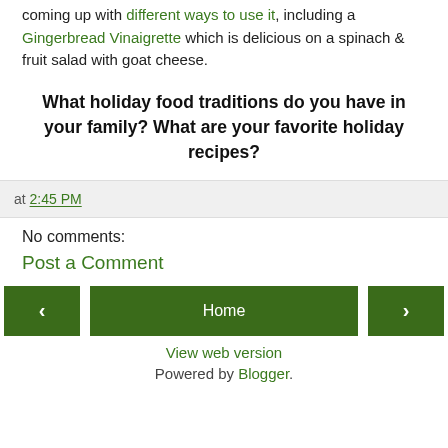coming up with different ways to use it, including a Gingerbread Vinaigrette which is delicious on a spinach & fruit salad with goat cheese.
What holiday food traditions do you have in your family? What are your favorite holiday recipes?
at 2:45 PM
No comments:
Post a Comment
< Home > View web version Powered by Blogger.